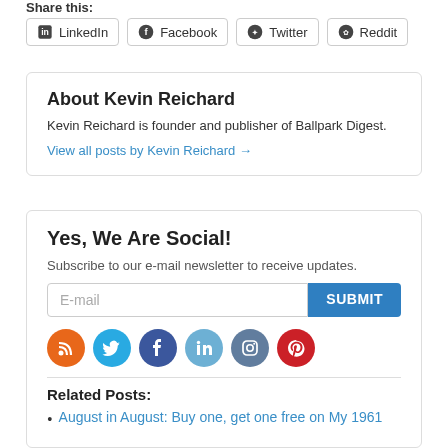Share this:
[Figure (infographic): Share buttons for LinkedIn, Facebook, Twitter, Reddit]
About Kevin Reichard
Kevin Reichard is founder and publisher of Ballpark Digest.
View all posts by Kevin Reichard →
Yes, We Are Social!
Subscribe to our e-mail newsletter to receive updates.
[Figure (infographic): Email subscribe form with E-mail input field and SUBMIT button, followed by social media icons: RSS (orange), Twitter (blue), Facebook (dark blue), LinkedIn (light blue), Instagram (gray-blue), Pinterest (red)]
Related Posts:
August in August: Buy one, get one free on My 1961